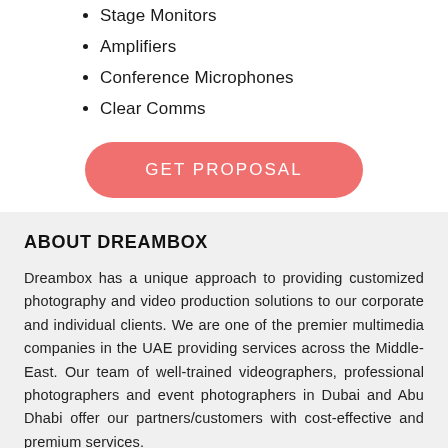Stage Monitors
Amplifiers
Conference Microphones
Clear Comms
GET PROPOSAL
ABOUT DREAMBOX
Dreambox has a unique approach to providing customized photography and video production solutions to our corporate and individual clients. We are one of the premier multimedia companies in the UAE providing services across the Middle-East. Our team of well-trained videographers, professional photographers and event photographers in Dubai and Abu Dhabi offer our partners/customers with cost-effective and premium services.
ADDRESS
Dreambox Creative Consultants LLC.
Sharjah: Office 10, Level 1, Sharjah Media City,